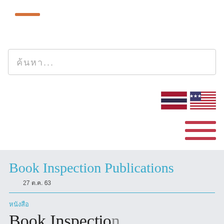[Figure (other): Orange horizontal bar / logo mark in top left corner]
ค้นหา...
[Figure (other): Thai flag icon]
[Figure (other): US flag icon]
[Figure (other): Hamburger menu icon with three horizontal red lines]
Book Inspection Publications
27 ต.ค. 63
หนังสือ
Book Inspec...